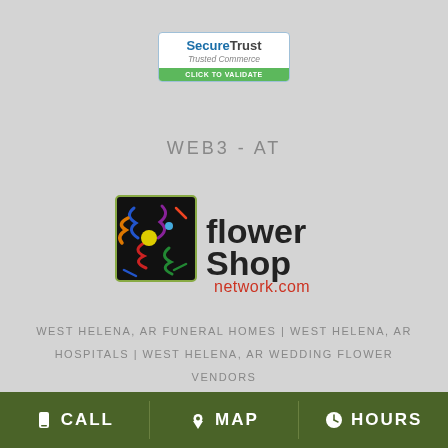[Figure (logo): SecureTrust Trusted Commerce - CLICK TO VALIDATE badge]
WEB3-AT
[Figure (logo): Flower Shop Network.com logo]
WEST HELENA, AR FUNERAL HOMES | WEST HELENA, AR HOSPITALS | WEST HELENA, AR WEDDING FLOWER VENDORS WEST HELENA, AR WEATHER | AR STATE GOVERNMENT SITE PRIVACY POLICY | TERMS OF PURCHASE
CALL   MAP   HOURS